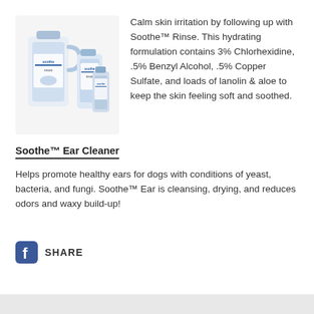[Figure (photo): Product photo showing Soothe brand bottles and containers — a large gallon jug and smaller bottles with blue and white labels featuring dogs]
Calm skin irritation by following up with Soothe™ Rinse. This hydrating formulation contains 3% Chlorhexidine, .5% Benzyl Alcohol, .5% Copper Sulfate, and loads of lanolin & aloe to keep the skin feeling soft and soothed.
Soothe™ Ear Cleaner
Helps promote healthy ears for dogs with conditions of yeast, bacteria, and fungi. Soothe™ Ear is cleansing, drying, and reduces odors and waxy build-up!
[Figure (logo): Facebook share button with 'f' logo icon and SHARE text]